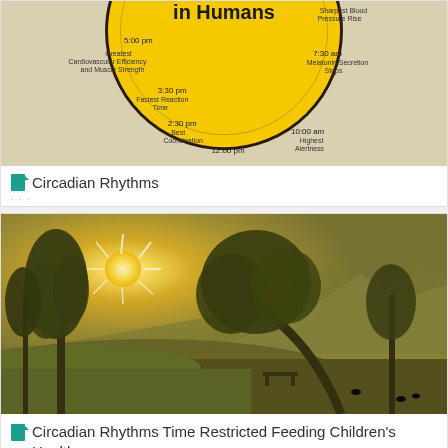[Figure (infographic): Circadian rhythms clock diagram showing times and biological events in humans — 5:00 pm Greatest Cardiovascular Efficiency and Muscle Strength, 3:30 pm Fastest Reaction Time, 2:30 pm Best Coordination, 12:00 pm, 10:00 am Highest Alertness, 7:30 am Melatonin Secretion Stops, Sharpest Blood Pressure Rise shown on a yellow circular clock diagram]
Circadian Rhythms
[Figure (photo): Golden-hour landscape photograph showing trees silhouetted against a bright sunburst over a lake with mountains in the background, lush green grass in the foreground, with birds on the water]
Circadian Rhythms Time Restricted Feeding Children's Health